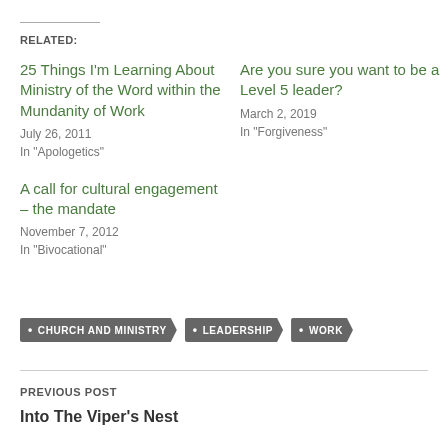RELATED:
25 Things I'm Learning About Ministry of the Word within the Mundanity of Work
July 26, 2011
In "Apologetics"
Are you sure you want to be a Level 5 leader?
March 2, 2019
In "Forgiveness"
A call for cultural engagement – the mandate
November 7, 2012
In "Bivocational"
CHURCH AND MINISTRY
LEADERSHIP
WORK
PREVIOUS POST
Into The Viper's Nest